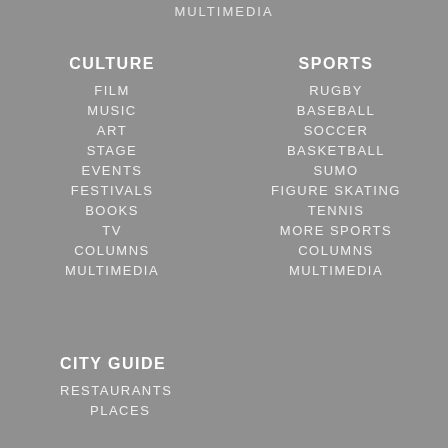MULTIMEDIA
CULTURE
FILM
MUSIC
ART
STAGE
EVENTS
FESTIVALS
BOOKS
TV
COLUMNS
MULTIMEDIA
SPORTS
RUGBY
BASEBALL
SOCCER
BASKETBALL
SUMO
FIGURE SKATING
TENNIS
MORE SPORTS
COLUMNS
MULTIMEDIA
CITY GUIDE
RESTAURANTS
PLACES